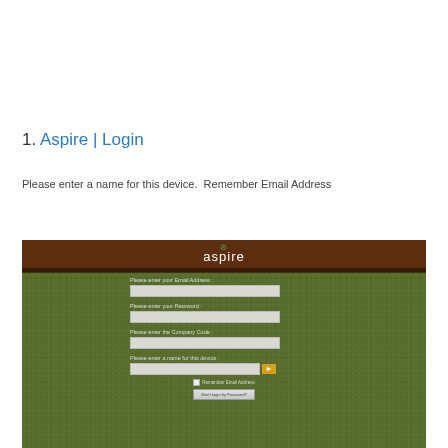1. Aspire | Login
Please enter a name for this device.  Remember Email Address
[Figure (screenshot): Aspire login screen with dark brown header showing the Aspire logo, and an olive/grass-green textured background. The form contains fields for Email Address, Password, Company Code, and device name, with a yellow arrow submit button, a Remember Email Address checkbox, and a 'Won't login by Password?' button.]